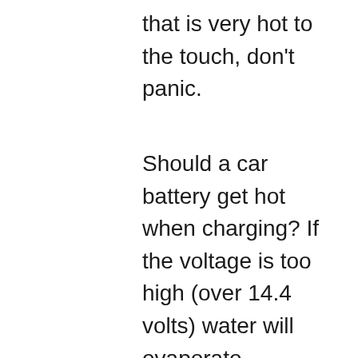that is very hot to the touch, don't panic.
Should a car battery get hot when charging? If the voltage is too high (over 14.4 volts) water will evaporate, explosive gases will develop, and the battery gets warm or even hot then the battery will get destroyed. During charging the battery must never get hot (the charger